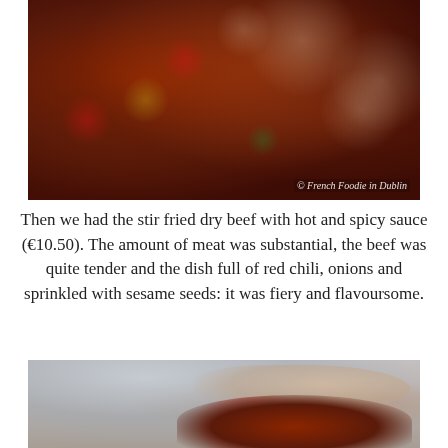[Figure (photo): Close-up photo of stir fried dry beef with hot and spicy sauce, showing dark red/brown meat pieces with red chili, green onions, and sesame seeds on a white plate. Photo credit: © French Foodie in Dublin]
Then we had the stir fried dry beef with hot and spicy sauce (€10.50). The amount of meat was substantial, the beef was quite tender and the dish full of red chili, onions and sprinkled with sesame seeds: it was fiery and flavoursome.
[Figure (photo): Partially visible photo showing a hand and a dish of food at the bottom of the page, blurred background.]